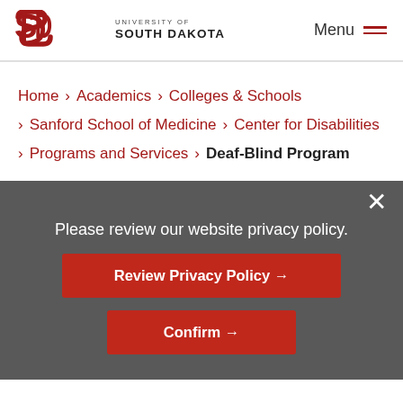University of South Dakota — Menu
Home > Academics > Colleges & Schools > Sanford School of Medicine > Center for Disabilities > Programs and Services > Deaf-Blind Program
Please review our website privacy policy.
Review Privacy Policy →
Confirm →